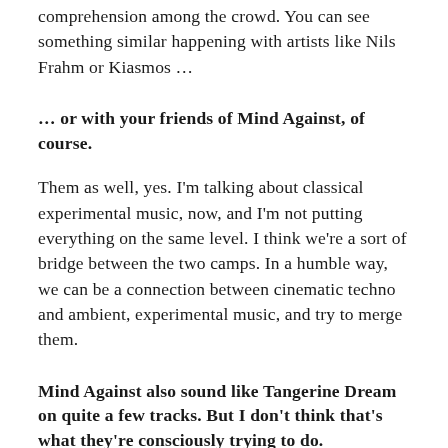comprehension among the crowd. You can see something similar happening with artists like Nils Frahm or Kiasmos …
… or with your friends of Mind Against, of course.
Them as well, yes. I'm talking about classical experimental music, now, and I'm not putting everything on the same level. I think we're a sort of bridge between the two camps. In a humble way, we can be a connection between cinematic techno and ambient, experimental music, and try to merge them.
Mind Against also sound like Tangerine Dream on quite a few tracks. But I don't think that's what they're consciously trying to do.
Exactly, it's not what they set out to do. It's what comes out. It is only through experience that you can trace the roots of the music. And if you are pure and if you keep the music that way, you can invent something that